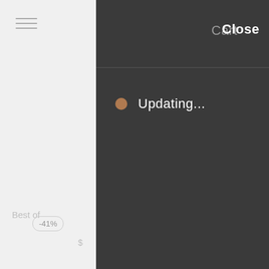[Figure (screenshot): Left panel of a webpage showing a hamburger menu icon, a -41% discount badge, 'Best of' text, and a partial price starting with '$'. Right panel is a dark cart overlay.]
Cart
Close
Updating...